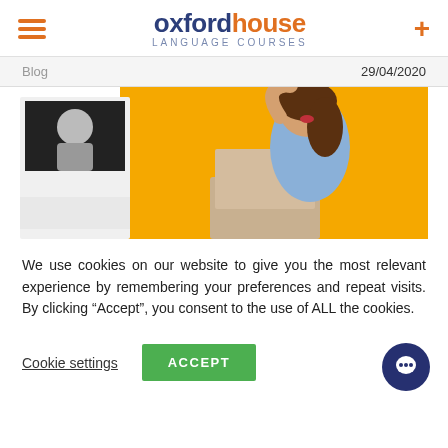oxford house LANGUAGE COURSES
Blog   29/04/2020
[Figure (photo): Woman on yellow background with hand raised, celebrating, with a laptop. On the left, a smaller inset showing a video call with another person.]
We use cookies on our website to give you the most relevant experience by remembering your preferences and repeat visits. By clicking “Accept”, you consent to the use of ALL the cookies.
Cookie settings   ACCEPT